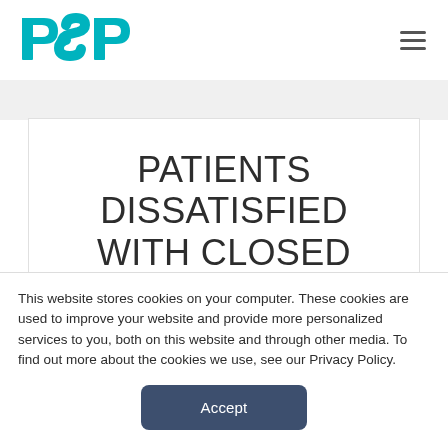[Figure (logo): PSP logo in teal/cyan color with stylized P-S-P letters]
PATIENTS DISSATISFIED WITH CLOSED REDUCTION
This website stores cookies on your computer. These cookies are used to improve your website and provide more personalized services to you, both on this website and through other media. To find out more about the cookies we use, see our Privacy Policy.
Accept